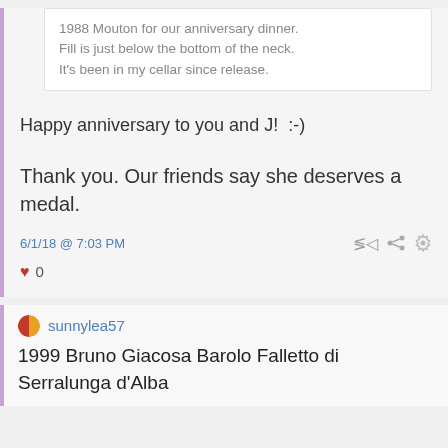1988 Mouton for our anniversary dinner. Fill is just below the bottom of the neck. It's been in my cellar since release.
Happy anniversary to you and J!  :-)
Thank you. Our friends say she deserves a medal.
6/1/18 @ 7:03 PM
♥ 0
sunnylea57
1999 Bruno Giacosa Barolo Falletto di Serralunga d'Alba